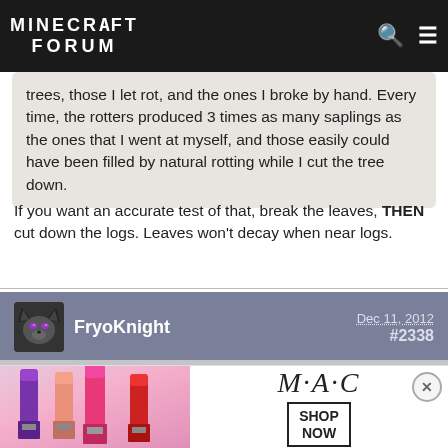MINECRAFT FORUM
trees, those I let rot, and the ones I broke by hand. Every time, the rotters produced 3 times as many saplings as the ones that I went at myself, and those easily could have been filled by natural rotting while I cut the tree down.
If you want an accurate test of that, break the leaves, THEN cut down the logs. Leaves won't decay when near logs.
FryoKnight
Dec 11, 2012
#2338
Member Details
Quote from Steelflame
Might want to check that. I did several test with groups of trees, those I let rot, and the ones I broke by hand. Every time, the rotters produced 3 times as many saplings as the ones that I went at myself, and those easily could have been filled by natural rotting while I cut the tree down.